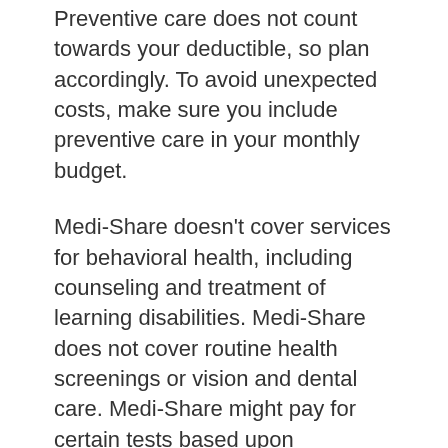Preventive care does not count towards your deductible, so plan accordingly. To avoid unexpected costs, make sure you include preventive care in your monthly budget.
Medi-Share doesn’t cover services for behavioral health, including counseling and treatment of learning disabilities. Medi-Share does not cover routine health screenings or vision and dental care. Medi-Share might pay for certain tests based upon symptoms. For more information, you should refer to your plan’s guidelines. Preventive services are covered by your traditional insurance, and there is no copay.
While Medi-Share may not be the right financial option for everyone, it is an alternative for those